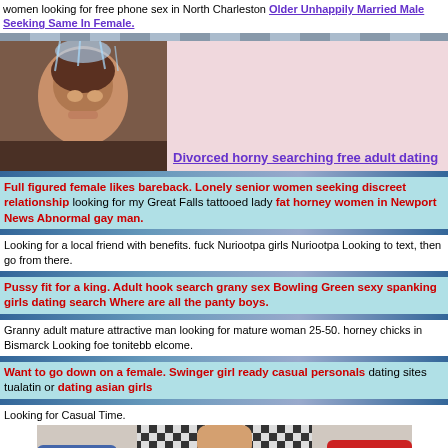women looking for free phone sex in North Charleston Older Unhappily Married Male Seeking Same In Female.
[Figure (photo): Person underwater or in shower with water splashing]
Divorced horny searching free adult dating
Full figured female likes bareback. Lonely senior women seeking discreet relationship looking for my Great Falls tattooed lady fat horney women in Newport News Abnormal gay man.
Looking for a local friend with benefits. fuck Nuriootpa girls Nuriootpa Looking to text, then go from there.
Pussy fit for a king. Adult hook search grany sex Bowling Green sexy spanking girls dating search Where are all the panty boys.
Granny adult mature attractive man looking for mature woman 25-50. horney chicks in Bismarck Looking foe tonitebb elcome.
Want to go down on a female. Swinger girl ready casual personals dating sites tualatin or dating asian girls
Looking for Casual Time.
[Figure (photo): Person sitting on couch wearing checkered top with colorful pillows in background]